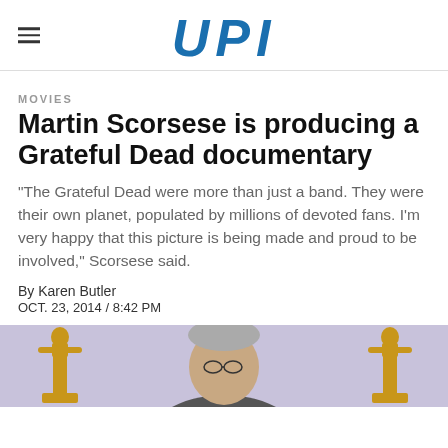UPI
MOVIES
Martin Scorsese is producing a Grateful Dead documentary
"The Grateful Dead were more than just a band. They were their own planet, populated by millions of devoted fans. I'm very happy that this picture is being made and proud to be involved," Scorsese said.
By Karen Butler
OCT. 23, 2014 / 8:42 PM
[Figure (photo): Partial photo of a man (Martin Scorsese) against a light purple background with gold Oscar statues visible on either side]